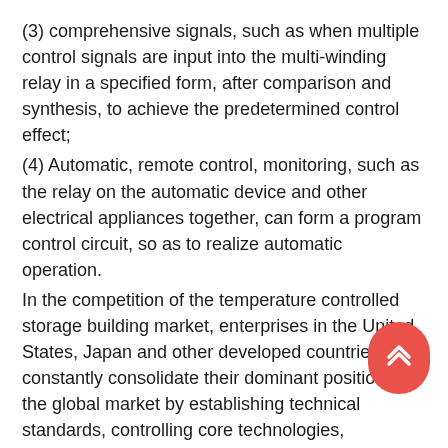(3) comprehensive signals, such as when multiple control signals are input into the multi-winding relay in a specified form, after comparison and synthesis, to achieve the predetermined control effect;
(4) Automatic, remote control, monitoring, such as the relay on the automatic device and other electrical appliances together, can form a program control circuit, so as to realize automatic operation.
In the competition of the temperature controlled storage building market, enterprises in the United States, Japan and other developed countries constantly consolidate their dominant position in the global market by establishing technical standards, controlling core technologies, strengthening the integration of industrial chains, and mastering the dominance of technical standards and international rules. In recent years, in order to further strengthen the core competitiveness, enterprises in the